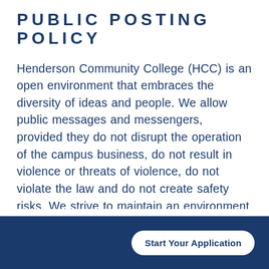PUBLIC POSTING POLICY
Henderson Community College (HCC) is an open environment that embraces the diversity of ideas and people. We allow public messages and messengers, provided they do not disrupt the operation of the campus business, do not result in violence or threats of violence, do not violate the law and do not create safety risks. We strive to maintain an environment at HCC where students, faculty, staff and our community stakeholders can gain knowledge and information that will help them achieve their better lives.
Start Your Application